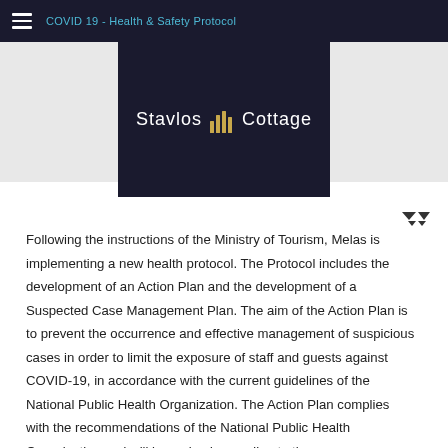COVID 19 - Health & Safety Protocol
[Figure (logo): Stavlos Cottage logo with bar chart icon between the words]
Following the instructions of the Ministry of Tourism, Melas is implementing a new health protocol. The Protocol includes the development of an Action Plan and the development of a Suspected Case Management Plan. The aim of the Action Plan is to prevent the occurrence and effective management of suspicious cases in order to limit the exposure of staff and guests against COVID-19, in accordance with the current guidelines of the National Public Health Organization. The Action Plan complies with the recommendations of the National Public Health Organization and will be revised according to the